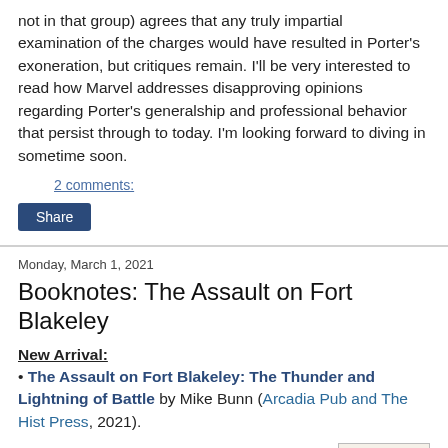not in that group) agrees that any truly impartial examination of the charges would have resulted in Porter's exoneration, but critiques remain. I'll be very interested to read how Marvel addresses disapproving opinions regarding Porter's generalship and professional behavior that persist through to today. I'm looking forward to diving in sometime soon.
2 comments:
Share
Monday, March 1, 2021
Booknotes: The Assault on Fort Blakeley
New Arrival:
The Assault on Fort Blakeley: The Thunder and Lightning of Battle by Mike Bunn (Arcadia Pub and The Hist Press, 2021).
The failure to neutralize or capture the major blockade running Gulf port of Mobile until very late in the war remains
[Figure (photo): Book cover showing 'THE ASSAULT' text on a light beige background with dark red title letters]